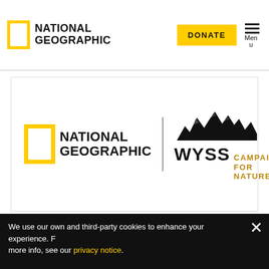NATIONAL GEOGRAPHIC | DONATE | Menu
[Figure (logo): Combined National Geographic and Wyss Campaign for Nature logo. Left: yellow border rectangle with 'NATIONAL GEOGRAPHIC' text. Vertical divider. Right: mountain silhouette above 'WYSS CAMPAIGN FOR NATURE' text.]
We use our own and third-party cookies to enhance your experience. For more info, see our privacy notice.